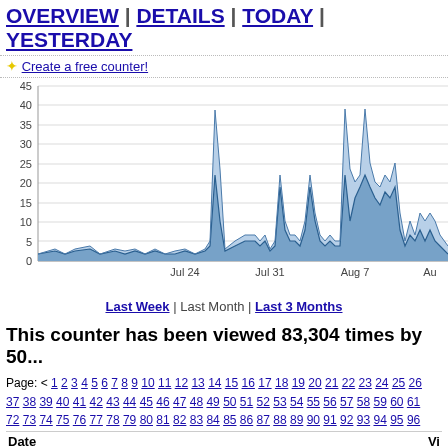OVERVIEW | DETAILS | TODAY | YESTERDAY
✦ Create a free counter!
[Figure (area-chart): Area chart showing page views over time from Jul 24 to Aug, with peaks around Jul 27 (~39), Aug 4 (~22), Aug 7 (~39), Aug 13 (~22)]
Last Week | Last Month | Last 3 Months
This counter has been viewed 83,304 times by 50...
Page: < 1 2 3 4 5 6 7 8 9 10 11 12 13 14 15 16 17 18 19 20 21 22 23 24 25 26 37 38 39 40 41 42 43 44 45 46 47 48 49 50 51 52 53 54 55 56 57 58 59 60 61 72 73 74 75 76 77 78 79 80 81 82 83 84 85 86 87 88 89 90 91 92 93 94 95 96
| Date | Vi |
| --- | --- |
| September 8, 2014 | 13 |